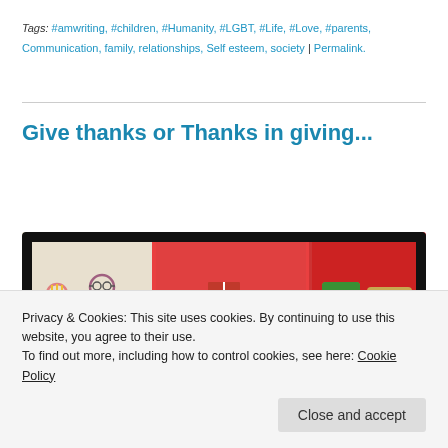Tags: #amwriting, #children, #Humanity, #LGBT, #Life, #Love, #parents, Communication, family, relationships, Self esteem, society | Permalink.
[Figure (photo): Composite image with torn black border showing three panels: left panel has children's drawing of family figures on cream background, center panel shows colorful wrapped gifts on red background, right panel shows a robot toy holding candy on red background.]
Give thanks or Thanks in giving...
Privacy & Cookies: This site uses cookies. By continuing to use this website, you agree to their use.
To find out more, including how to control cookies, see here: Cookie Policy